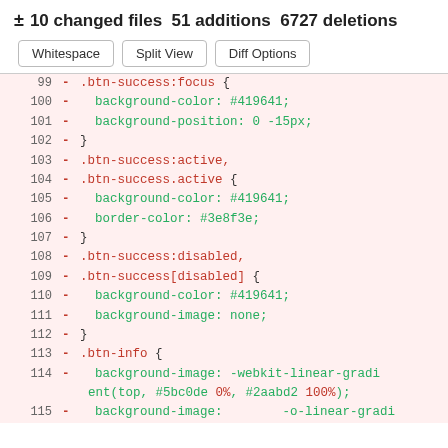± 10 changed files 51 additions 6727 deletions
[Figure (screenshot): Diff view toolbar with Whitespace, Split View, and Diff Options buttons]
99  - .btn-success:focus {
100 -   background-color: #419641;
101 -   background-position: 0 -15px;
102 - }
103 - .btn-success:active,
104 - .btn-success.active {
105 -   background-color: #419641;
106 -   border-color: #3e8f3e;
107 - }
108 - .btn-success:disabled,
109 - .btn-success[disabled] {
110 -   background-color: #419641;
111 -   background-image: none;
112 - }
113 - .btn-info {
114 -   background-image: -webkit-linear-gradient(top, #5bc0de 0%, #2aabd2 100%);
115 -   background-image:        -o-linear-gradi